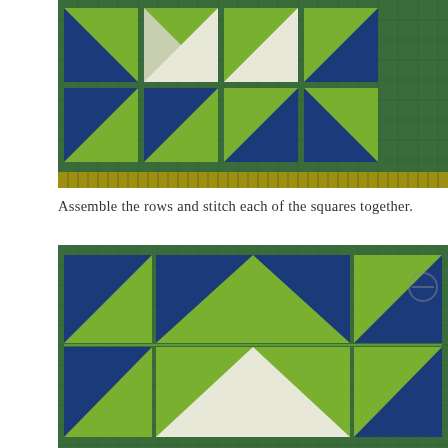[Figure (photo): Quilting squares arranged in a grid pattern on a green cutting mat, showing blue and green-yellow half-square triangle blocks arranged in rows before assembly.]
Assemble the rows and stitch each of the squares together.
[Figure (photo): Assembled quilt rows stitched together on a green cutting mat, showing blue and green-yellow half-square triangle blocks forming a larger pattern with visible seam lines.]